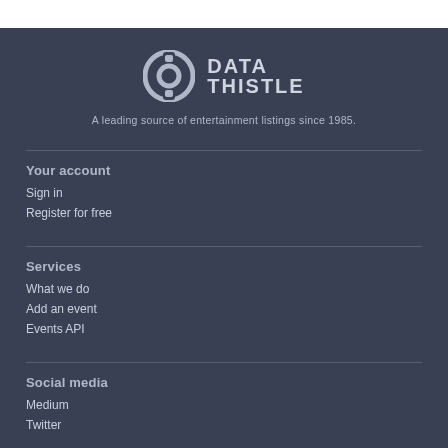[Figure (logo): Data Thistle logo with circular icon and text DATA THISTLE]
A leading source of entertainment listings since 1985.
Your account
Sign in
Register for free
Services
What we do
Add an event
Events API
Social media
Medium
Twitter